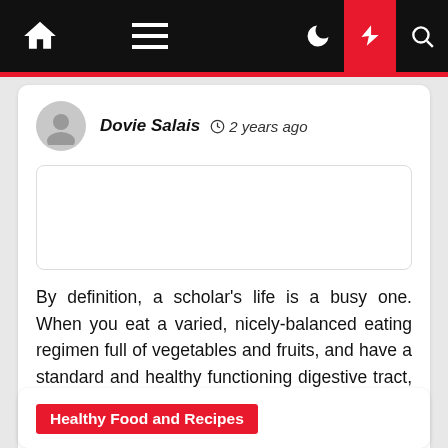Navigation bar with home, menu, dark mode, lightning, and search icons
Dovie Salais  2 years ago
[Figure (other): Article thumbnail image placeholder (empty white box with border)]
By definition, a scholar's life is a busy one. When you eat a varied, nicely-balanced eating regimen full of vegetables and fruits, and have a standard and healthy functioning digestive tract, you probably needn't take vitamin supplements. There are twenty amino acids that make up all the kinds of protein [...]
Healthy Food and Recipes